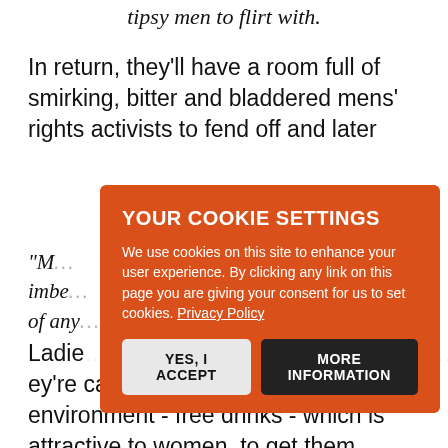tipsy men to flirt with.
In return, they'll have a room full of smirking, bitter and bladdered mens' rights activists to fend off and later
“M… at imbe… anks of any… off.”
[Figure (screenshot): Cookie consent overlay with orange background. Title: YOUR COOKIE SETTINGS. Body: We use cookies on this site to enhance your user experience. By clicking any link on this page you are giving your consent for us to set cookies. Privacy Policy. Buttons: YES, I ACCEPT and MORE INFORMATION.]
Ladie… ey're catering to men by creating an environment - free drinks - which is attractive to women, to get them through the door. Also, when you refer to women as 'females' you make it sound like they are animals in a zoo and the men are zoophile interlopers who've